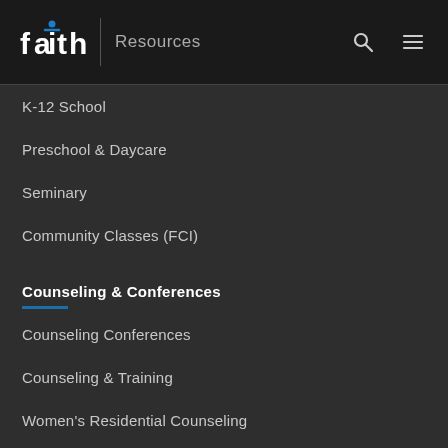faith | Resources
K-12 School
Preschool & Daycare
Seminary
Community Classes (FCI)
Counseling & Conferences
Counseling Conferences
Counseling & Training
Women's Residential Counseling
Men's Residential Counseling
Community Engagement